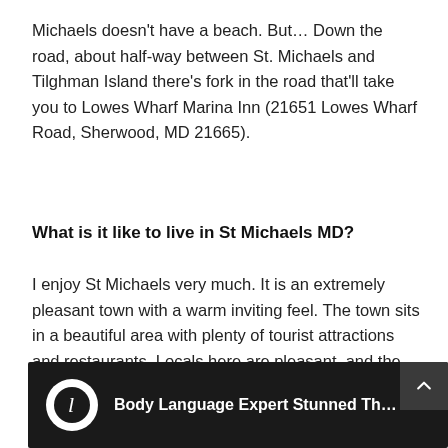Michaels doesn't have a beach. But… Down the road, about half-way between St. Michaels and Tilghman Island there's fork in the road that'll take you to Lowes Wharf Marina Inn (21651 Lowes Wharf Road, Sherwood, MD 21665).
What is it like to live in St Michaels MD?
I enjoy St Michaels very much. It is an extremely pleasant town with a warm inviting feel. The town sits in a beautiful area with plenty of tourist attractions and restaurants. Locals here are pleasant, and the general environment is enjoyable, especially to live in.
[Figure (screenshot): Video thumbnail with dark background showing a logo 'L' in a circle, title 'Body Language Expert Stunned Th…', and an up-arrow button in the top right corner.]